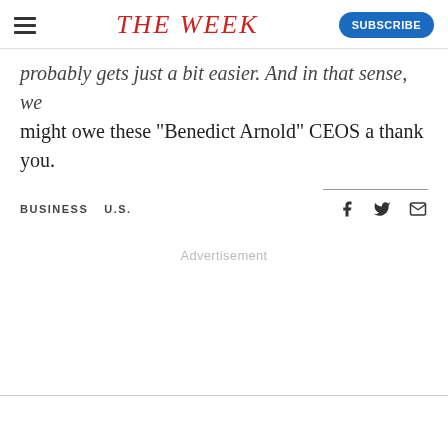THE WEEK
probably gets just a bit easier. And in that sense, we might owe these "Benedict Arnold" CEOS a thank you.
BUSINESS   U.S.
Advertisement